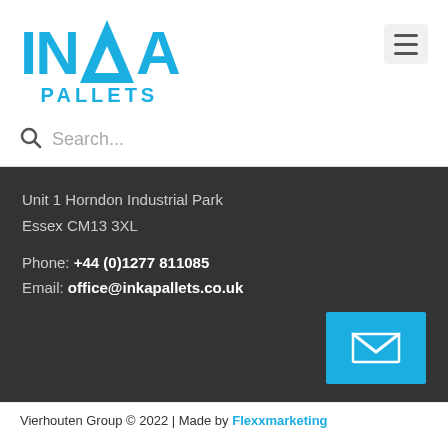[Figure (logo): INKA PALLETS logo in blue]
Search...
Unit 1 Horndon Industrial Park
Essex CM13 3XL
Phone: +44 (0)1277 811085
Email: office@inkapallets.co.uk
[Figure (illustration): Blue email/envelope button icon]
Vierhouten Group © 2022 | Made by Flexxmarketing